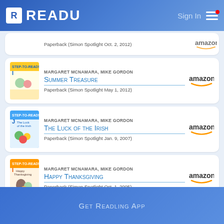READU — Sign In
Paperback (Simon Spotlight Oct. 2, 2012)
MARGARET MCNAMARA, MIKE GORDON
Summer Treasure
Paperback (Simon Spotlight May 1, 2012)
MARGARET MCNAMARA, MIKE GORDON
The Luck of the Irish
Paperback (Simon Spotlight Jan. 9, 2007)
MARGARET MCNAMARA, MIKE GORDON
Happy Thanksgiving
Paperback (Simon Spotlight Oct. 1, 2005)
Get Readling App